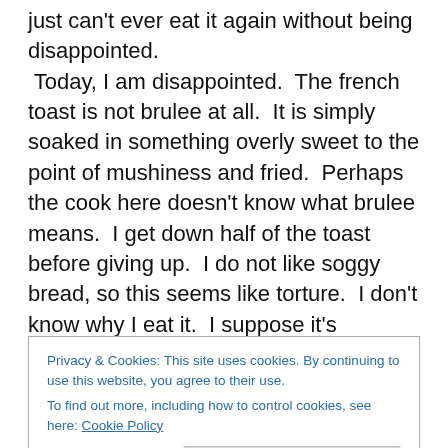just can't ever eat it again without being disappointed.
 Today, I am disappointed.  The french toast is not brulee at all.  It is simply soaked in something overly sweet to the point of mushiness and fried.  Perhaps the cook here doesn't know what brulee means.  I get down half of the toast before giving up.  I do not like soggy bread, so this seems like torture.  I don't know why I eat it.  I suppose it's because of the eager waitress who recommended it.  I don't want to hurt her feelings.  About the time I feel like I will gag if I eat another bite, the jazz group comes out of remission.
Privacy & Cookies: This site uses cookies. By continuing to use this website, you agree to their use.
To find out more, including how to control cookies, see here: Cookie Policy
Close and accept
Water Grill since we had 2 1/2 hours to kill before our